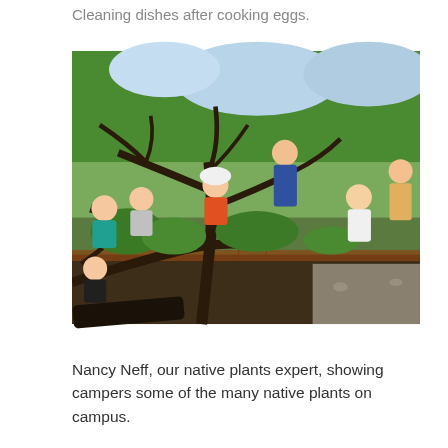Cleaning dishes after cooking eggs.
[Figure (photo): Children and adults gathered around a garden area with bare tree branches in the foreground, surrounded by green plants and shrubs, appearing to be learning about or working in an outdoor garden on a sunny day.]
Nancy Neff, our native plants expert, showing campers some of the many native plants on campus.